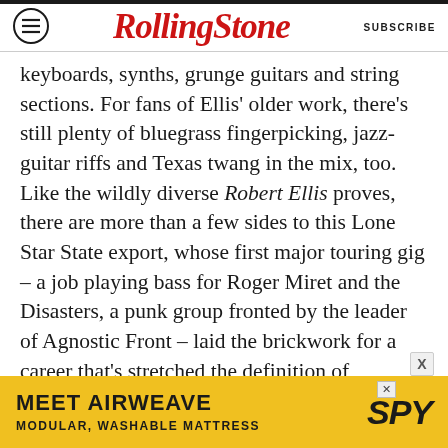Rolling Stone | SUBSCRIBE
keyboards, synths, grunge guitars and string sections. For fans of Ellis' older work, there's still plenty of bluegrass fingerpicking, jazz-guitar riffs and Texas twang in the mix, too. Like the wildly diverse Robert Ellis proves, there are more than a few sides to this Lone Star State export, whose first major touring gig – a job playing bass for Roger Miret and the Disasters, a punk group fronted by the leader of Agnostic Front – laid the brickwork for a career that's stretched the definition of Americana, with Ellis never following a predictable path.
As always, Rolling Stone Country is premiering the new episode today. Here are some takeaways
[Figure (other): Advertisement banner: MEET AIRWEAVE / MODULAR, WASHABLE MATTRESS / SPY logo on yellow background]